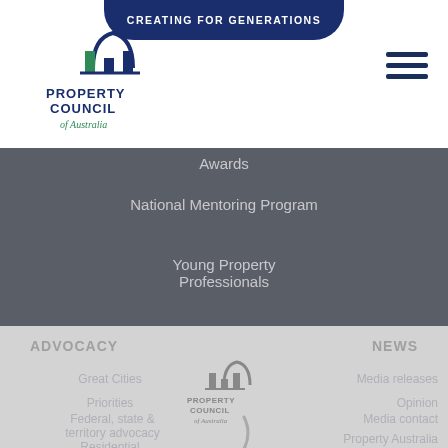[Figure (logo): Property Council of Australia logo - arch/building icon with text]
CREATING FOR GENERATIONS
[Figure (other): Hamburger menu icon (three horizontal lines)]
Awards
National Mentoring Program
Young Property Professionals
ADVOCACY
NEWS
[Figure (logo): Property Council of Australia logo (gray version in footer)]
Great Cities
Priorities
Federal, state & territory advocacy
Residential Development
Media releases
Opinion
Media contact
Property Australia